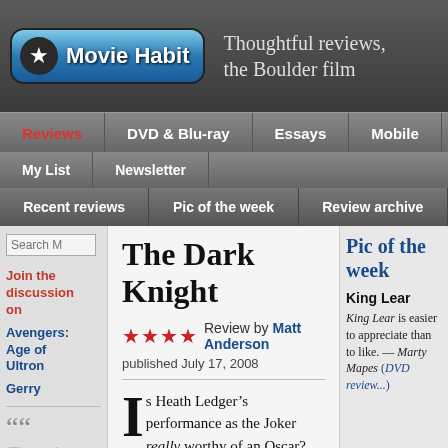Movie Habit — Thoughtful reviews, the Boulder film
Reviews | DVD & Blu-ray | Essays | Mobile | My List | Newsletter
Recent reviews | Pic of the week | Review archive
Search
Join the discussion on
Avengers: Age of Ultron
Gerry
“ Don’t
The Dark Knight
★★★★ Review by Matt Anderson published July 17, 2008
Is Heath Ledger’s performance as the Joker really worthy of an Oscar? Yes.
But The Dark Knight’s
Pic of the week
King Lear
King Lear is easier to appreciate than to like. — Marty Mapes (DVD review...)